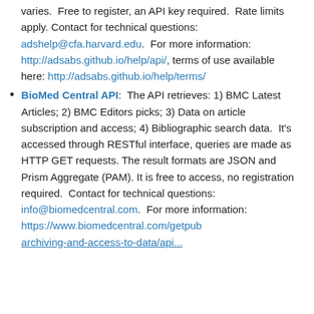varies.  Free to register, an API key required.  Rate limits apply. Contact for technical questions: adshelp@cfa.harvard.edu.  For more information: http://adsabs.github.io/help/api/, terms of use available here: http://adsabs.github.io/help/terms/
BioMed Central API:  The API retrieves: 1) BMC Latest Articles; 2) BMC Editors picks; 3) Data on article subscription and access; 4) Bibliographic search data.  It's accessed through RESTful interface, queries are made as HTTP GET requests. The result formats are JSON and Prism Aggregate (PAM). It is free to access, no registration required.  Contact for technical questions: info@biomedcentral.com.  For more information: https://www.biomedcentral.com/getpub archiving-and-access-to-data/api...